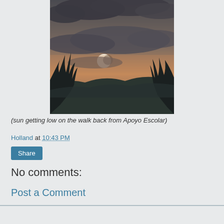[Figure (photo): Sunset photo showing the sun low on the horizon partially obscured by dark clouds, with silhouettes of trees in the foreground and hills in the background, warm orange glow in the sky.]
(sun getting low on the walk back from Apoyo Escolar)
Holland at 10:43 PM
Share
No comments:
Post a Comment